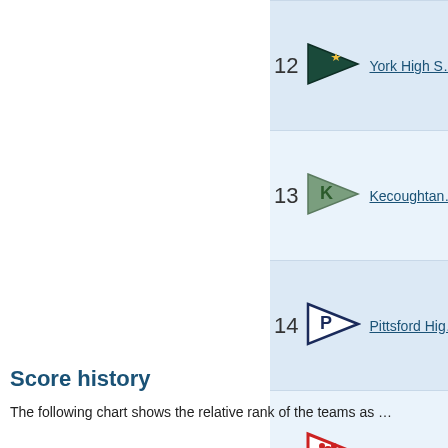| Rank | Flag | School |
| --- | --- | --- |
| 12 | [York flag] | York High S... |
| 13 | [Kecoughtan flag] | Kecoughtan... |
| 14 | [Pittsford flag] | Pittsford Hig... |
| 15 | [St. John flag] | St. John the... |
| 16 | [Peninsula flag] | Peninsula C... |
| 17 | [Williamsville flag] | Williamsville... |
| 18 | [Fairport flag] | Fairport Hig... |
Score history
The following chart shows the relative rank of the teams as a...